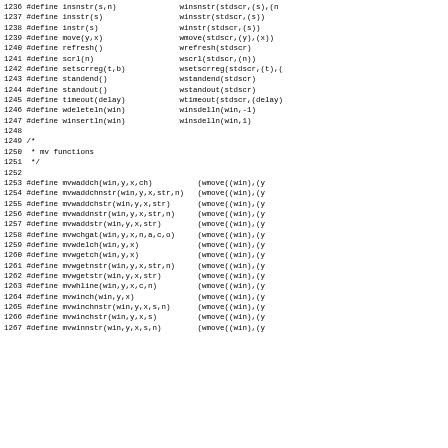Code listing showing C preprocessor #define macros for curses library functions, lines 1236-1267